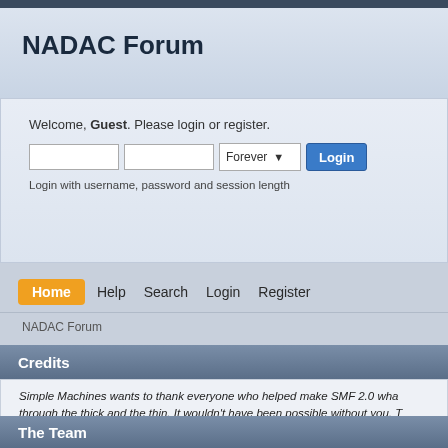NADAC Forum
Welcome, Guest. Please login or register.
Login with username, password and session length
Home  Help  Search  Login  Register
NADAC Forum
Credits
Simple Machines wants to thank everyone who helped make SMF 2.0 what it is today; through the thick and the thin. It wouldn't have been possible without you. T Members - thanks for installing and using our software as well as providing
The Team